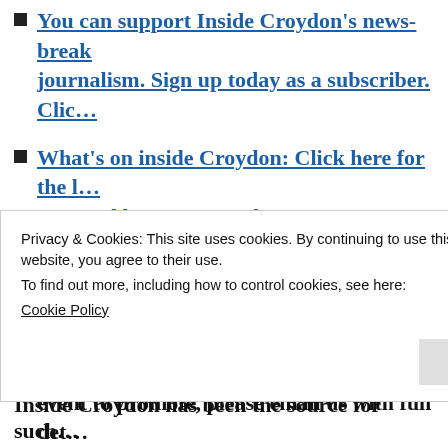You can support Inside Croydon's news-breaking journalism. Sign up today as a subscriber. Clic…
What's on inside Croydon: Click here for the l… powered by Now Croydon
If you have a news story about life in or aroun… publicise your residents' association or busine… event to promote, please email us with full det… inside.croydon@btinternet.com
Inside Croydon is a member of the Independe… Community News Network…
Privacy & Cookies: This site uses cookies. By continuing to use this website, you agree to their use. To find out more, including how to control cookies, see here: Cookie Policy
Close and accept
Inside Croydon has been the source for such…